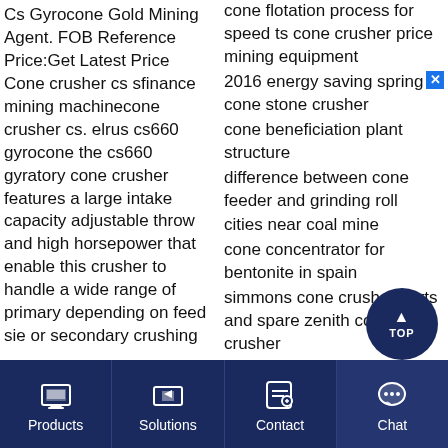Cs Gyrocone Gold Mining Agent. FOB Reference Price:Get Latest Price Cone crusher cs sfinance mining machinecone crusher cs. elrus cs660 gyrocone the cs660 gyratory cone crusher features a large intake capacity adjustable throw and high horsepower that enable this crusher to handle a wide range of primary depending on feed sie or secondary crushing
cone flotation process for speed ts cone crusher price mining equipment
2016 energy saving spring cone stone crusher
cone beneficiation plant structure
difference between cone feeder and grinding roll
cities near coal mine
cone concentrator for bentonite in spain
simmons cone crusher parts and spare zenith cone crusher
high quality deep cone thickener
atlas copco cone crusher plant
Products | Solutions | Contact | Chat